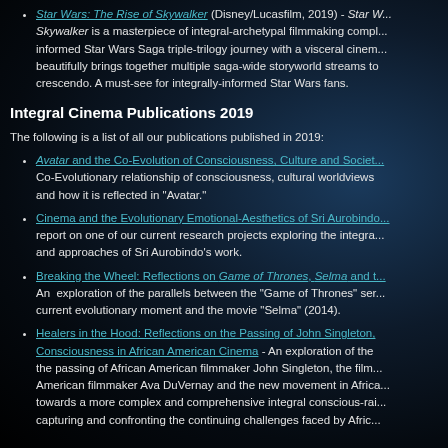Star Wars: The Rise of Skywalker (Disney/Lucasfilm, 2019) - Star Wars: The Rise of Skywalker is a masterpiece of integral-archetypal filmmaking compl... informed Star Wars Saga triple-trilogy journey with a visceral cinem... beautifully brings together multiple saga-wide storyworld streams to crescendo. A must-see for integrally-informed Star Wars fans.
Integral Cinema Publications 2019
The following is a list of all our publications published in 2019:
Avatar and the Co-Evolution of Consciousness, Culture and Society - Co-Evolutionary relationship of consciousness, cultural worldviews and how it is reflected in "Avatar."
Cinema and the Evolutionary Emotional-Aesthetics of Sri Aurobindo - report on one of our current research projects exploring the integral and approaches of Sri Aurobindo's work.
Breaking the Wheel: Reflections on Game of Thrones, Selma and ... - An exploration of the parallels between the "Game of Thrones" ser... current evolutionary moment and the movie "Selma" (2014).
Healers in the Hood: Reflections on the Passing of John Singleton, Consciousness in African American Cinema - An exploration of the passing of African American filmmaker John Singleton, the film... American filmmaker Ava DuVernay and the new movement in Africa towards a more complex and comprehensive integral conscious-rai... capturing and confronting the continuing challenges faced by Afric...